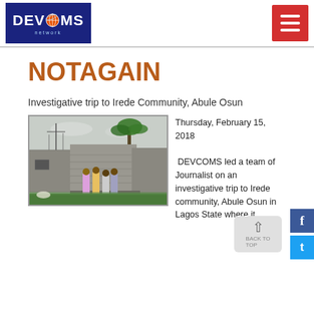[Figure (logo): DEVCOMS Network logo on dark blue background with globe graphic]
NOTAGAIN
Investigative trip to Irede Community, Abule Osun
[Figure (photo): Photo of people standing in front of a ruined stone/concrete building with palm tree in background at Irede Community, Abule Osun]
Thursday, February 15, 2018 DEVCOMS led a team of Journalist on an investigative trip to Irede community, Abule Osun in Lagos State where it